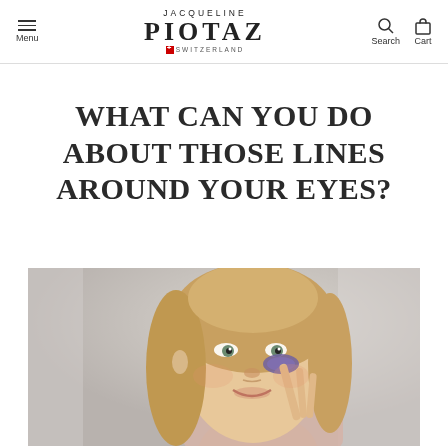Menu | JACQUELINE PIOTAZ SWITZERLAND | Search | Cart
WHAT CAN YOU DO ABOUT THOSE LINES AROUND YOUR EYES?
[Figure (photo): A smiling middle-aged woman with blonde hair holding a purple under-eye patch against her face, photographed against a light blurred background.]